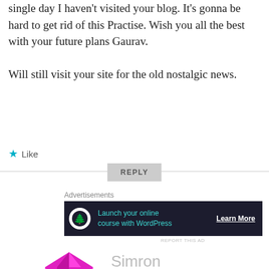single day I haven't visited your blog. It's gonna be hard to get rid of this Practise. Wish you all the best with your future plans Gaurav.
Will still visit your site for the old nostalgic news.
★ Like
REPLY
Advertisements
[Figure (infographic): Dark banner advertisement: circular icon with bonsai tree symbol, teal text 'Launch your online course with WordPress', white underlined 'Learn More' button]
REPORT THIS AD
Simron
[Figure (illustration): Colorful magenta/pink geometric diamond pattern avatar icon for user Simron]